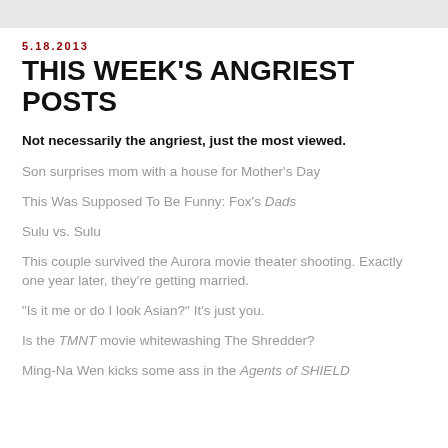5.18.2013
THIS WEEK'S ANGRIEST POSTS
Not necessarily the angriest, just the most viewed.
Son surprises mom with a house for Mother's Day
This Was Supposed To Be Funny: Fox's Dads
Sulu vs. Sulu
This couple survived the Aurora movie theater shooting. Exactly one year later, they're getting married.
"Is it me or do I look Asian?" It's just you.
Is the TMNT movie whitewashing The Shredder?
Ming-Na Wen kicks some ass in the Agents of SHIELD